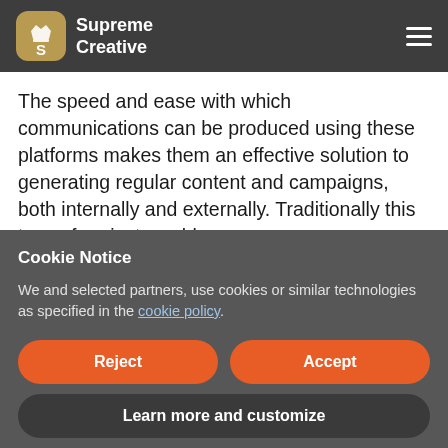Supreme Creative
The speed and ease with which communications can be produced using these platforms makes them an effective solution to generating regular content and campaigns, both internally and externally. Traditionally this type of project would
Cookie Notice
We and selected partners, use cookies or similar technologies as specified in the cookie policy.
Reject
Accept
Learn more and customize